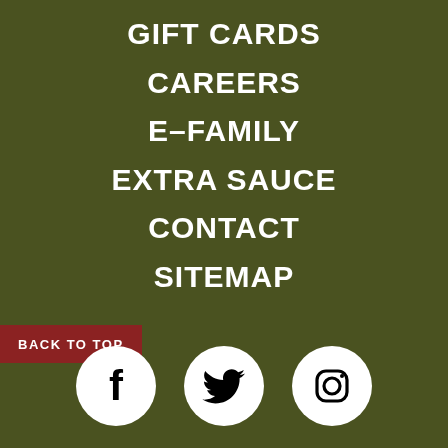GIFT CARDS
CAREERS
E-FAMILY
EXTRA SAUCE
CONTACT
SITEMAP
BACK TO TOP
[Figure (illustration): Three social media icons: Facebook, Twitter, Instagram — white circles with black logos on olive green background]